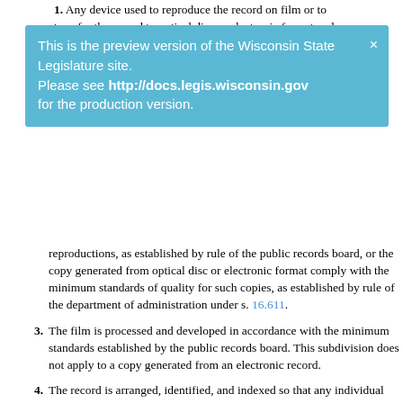1. Any device used to reproduce the record on film or to transfer the record to optical disc or electronic format and
[Figure (other): Preview notification banner: 'This is the preview version of the Wisconsin State Legislature site. Please see http://docs.legis.wisconsin.gov for the production version.' with close X button.]
reproductions, as established by rule of the public records board, or the copy generated from optical disc or electronic format comply with the minimum standards of quality for such copies, as established by rule of the department of administration under s. 16.611.
3. The film is processed and developed in accordance with the minimum standards established by the public records board. This subdivision does not apply to a copy generated from an electronic record.
4. The record is arranged, identified, and indexed so that any individual document or component of the record can be located with the use of proper equipment.
5. The custodian of the record designated by the authority executes a statement of intent and purpose describing the record to be reproduced or transferred to optical disc or electronic format and the disposition of the original record, and executes a certificate verifying that the record was received or created and microfilmed or transferred optical disc or electronic format in the normal course of